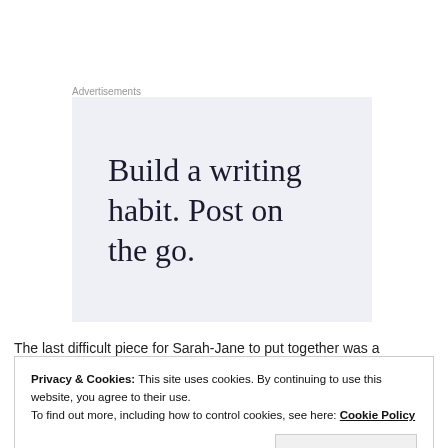Advertisements
[Figure (other): Advertisement banner with light blue-grey background displaying the text 'Build a writing habit. Post on the go.' in large serif font]
The last difficult piece for Sarah-Jane to put together was a
Privacy & Cookies: This site uses cookies. By continuing to use this website, you agree to their use.
To find out more, including how to control cookies, see here: Cookie Policy
Close and accept